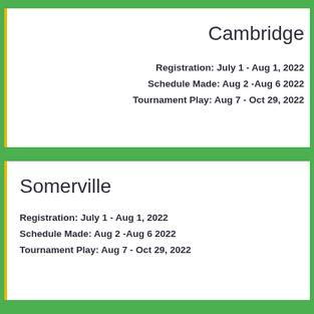Cambridge
Registration: July 1 - Aug 1, 2022
Schedule Made: Aug 2 -Aug 6 2022
Tournament Play: Aug 7 - Oct 29, 2022
Somerville
Registration: July 1 - Aug 1, 2022
Schedule Made: Aug 2 -Aug 6 2022
Tournament Play: Aug 7 - Oct 29, 2022